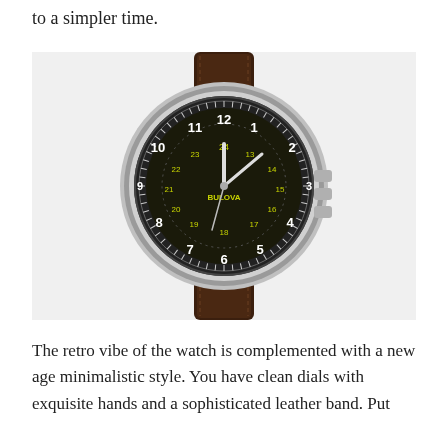to a simpler time.
[Figure (photo): A Bulova retro military-style watch with a dark brown leather strap, silver case, and black dial featuring both 12-hour and 24-hour numerals in white and yellow-green.]
The retro vibe of the watch is complemented with a new age minimalistic style. You have clean dials with exquisite hands and a sophisticated leather band. Put